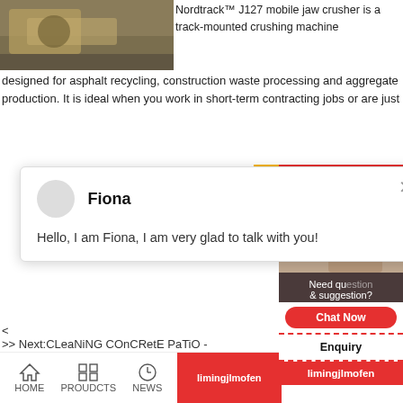[Figure (photo): Construction/mining machinery (excavator) working at a site, partial view top-left]
Nordtrack™ J127 mobile jaw crusher is a track-mounted crushing machine designed for asphalt recycling, construction waste processing and aggregate production. It is ideal when you work in short-term contracting jobs or are just
[Figure (screenshot): Chat popup with avatar circle, name 'Fiona', message 'Hello, I am Fiona, I am very glad to talk with you!', close X button]
<
>> Next:CLeaNiNG COnCRetE PaTiO -
Other Products
[Figure (screenshot): Right sidebar: red 24Hrs Online banner, yellow accent, photo of person on phone, blue circle badge with '1', dark panel with 'Need qu... & suggestion?', red Chat Now button, Enquiry section, red limingjlmofen bar]
HOME   PROUDCTS   NEWS   limingjlmofen